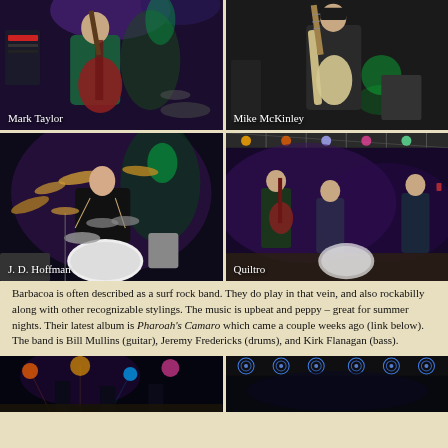[Figure (photo): Mark Taylor playing electric guitar on stage with purple lights and keyboard visible]
[Figure (photo): Mike McKinley playing electric bass guitar on stage]
[Figure (photo): J. D. Hoffman playing drums on stage with colorful lights]
[Figure (photo): Quiltro band performing on outdoor stage with purple lighting]
Barbacoa is often described as a surf rock band. They do play in that vein, and also rockabilly along with other recognizable stylings. The music is upbeat and peppy – great for summer nights. Their latest album is Pharoah's Camaro which came a couple weeks ago (link below). The band is Bill Mullins (guitar), Jeremy Fredericks (drums), and Kirk Flanagan (bass).
[Figure (photo): Bottom left concert photo with colorful stage lights]
[Figure (photo): Bottom right concert photo with blue circular stage lights]